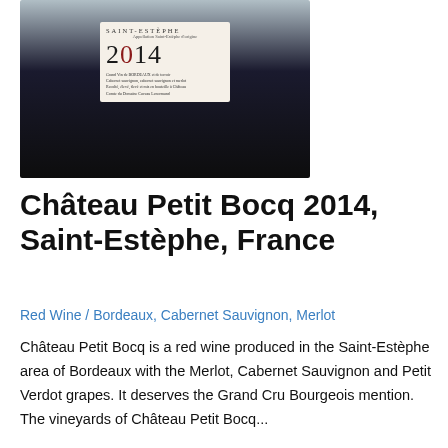[Figure (photo): Close-up photo of a wine bottle label showing 'SAINT-ESTEPHE 2014' on a white label, with dark bottle body visible]
Château Petit Bocq 2014, Saint-Estèphe, France
Red Wine / Bordeaux, Cabernet Sauvignon, Merlot
Château Petit Bocq is a red wine produced in the Saint-Estèphe area of Bordeaux with the Merlot, Cabernet Sauvignon and Petit Verdot grapes. It deserves the Grand Cru Bourgeois mention. The vineyards of Château Petit Bocq...